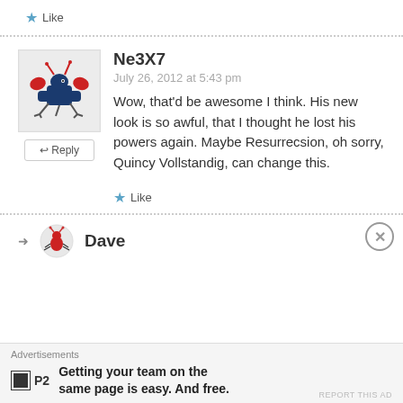★ Like
Ne3X7
July 26, 2012 at 5:43 pm
Wow, that'd be awesome I think. His new look is so awful, that I thought he lost his powers again. Maybe Resurrecsion, oh sorry, Quincy Vollstandig, can change this.
★ Like
Dave
Advertisements
Getting your team on the same page is easy. And free.